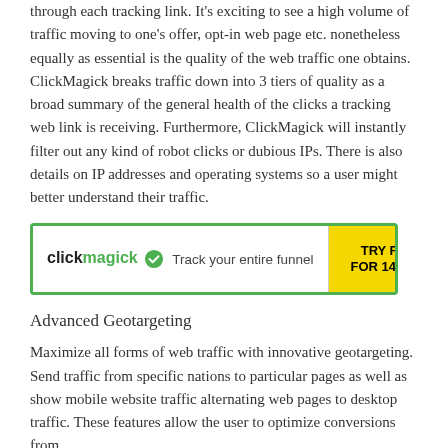through each tracking link. It's exciting to see a high volume of traffic moving to one's offer, opt-in web page etc. nonetheless equally as essential is the quality of the web traffic one obtains. ClickMagick breaks traffic down into 3 tiers of quality as a broad summary of the general health of the clicks a tracking web link is receiving. Furthermore, ClickMagick will instantly filter out any kind of robot clicks or dubious IPs. There is also details on IP addresses and operating systems so a user might better understand their traffic.
[Figure (other): ClickMagick advertisement banner: logo on the left with green checkmark and tagline 'Track your entire funnel', yellow button on the right reading 'TRY FREE FOR 14 DAYS']
Advanced Geotargeting
Maximize all forms of web traffic with innovative geotargeting. Send traffic from specific nations to particular pages as well as show mobile website traffic alternating web pages to desktop traffic. These features allow the user to optimize conversions from